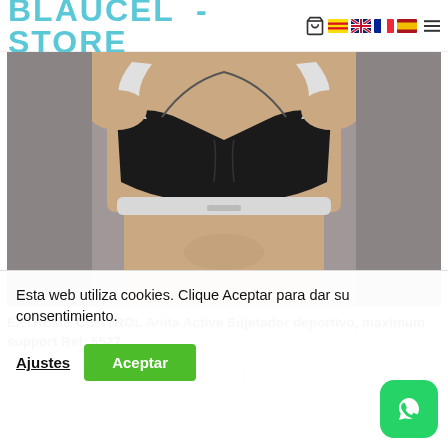BLAUCEL - STORE
[Figure (photo): Woman wearing a black and white sports bra (Anita Active Extreme Control) against a grey background, front view showing the bra's design with white straps and black cups.]
EXTREME CONTROL Anita Active Sujetador deportivo, maximum support Ref: 5527
Esta web utiliza cookies. Clique Aceptar para dar su consentimiento.
Ajustes
Aceptar